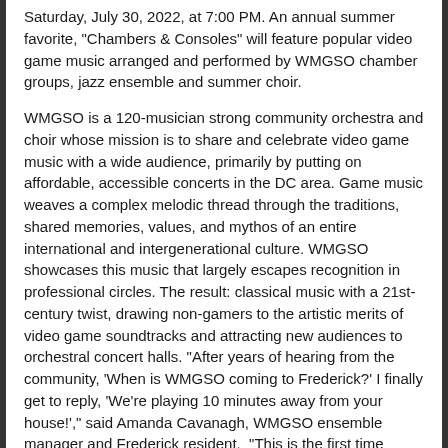Saturday, July 30, 2022, at 7:00 PM. An annual summer favorite, "Chambers & Consoles" will feature popular video game music arranged and performed by WMGSO chamber groups, jazz ensemble and summer choir.
WMGSO is a 120-musician strong community orchestra and choir whose mission is to share and celebrate video game music with a wide audience, primarily by putting on affordable, accessible concerts in the DC area. Game music weaves a complex melodic thread through the traditions, shared memories, values, and mythos of an entire international and intergenerational culture. WMGSO showcases this music that largely escapes recognition in professional circles. The result: classical music with a 21st-century twist, drawing non-gamers to the artistic merits of video game soundtracks and attracting new audiences to orchestral concert halls. "After years of hearing from the community, 'When is WMGSO coming to Frederick?' I finally get to reply, 'We're playing 10 minutes away from your house!'," said Amanda Cavanagh, WMGSO ensemble manager and Frederick resident.  "This is the first time we've come up this way to perform and I'm excited to share with my friends and family this amazing ensemble!"
More on S For Story